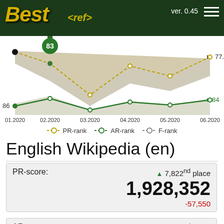[Figure (screenshot): Best<ref> app header with logo and version 0.45]
[Figure (line-chart): PR-rank, AR-rank, F-rank over time 01.2020 to 06.2020]
English Wikipedia (en)
PR-score: ▲ 7,822nd place 1,928,352 -57,550
AR-score: ▲ 11,262nd place 146,556 +1,169